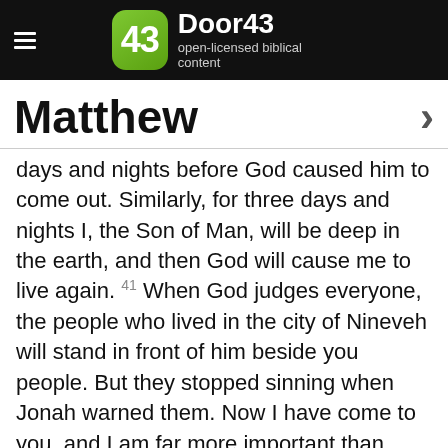Door43 — open-licensed biblical content
Matthew
days and nights before God caused him to come out. Similarly, for three days and nights I, the Son of Man, will be deep in the earth, and then God will cause me to live again. 41 When God judges everyone, the people who lived in the city of Nineveh will stand in front of him beside you people. But they stopped sinning when Jonah warned them. Now I have come to you, and I am far more important than Jonah was, but you have not stopped sinning. So God will judge you. 42 The women of